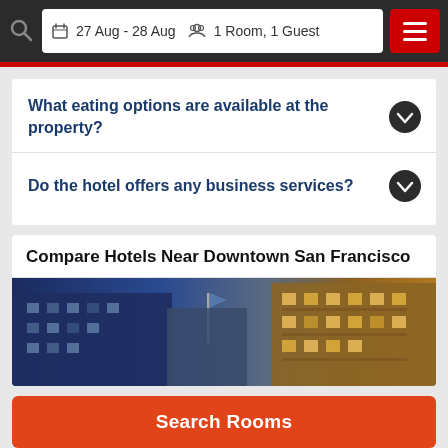27 Aug - 28 Aug  |  1 Room, 1 Guest
What eating options are available at the property?
Do the hotel offers any business services?
Compare Hotels Near Downtown San Francisco
[Figure (photo): Hotel buildings near downtown San Francisco at dusk, showing multi-story buildings with warm amber lighting on right and blue twilight sky on left with a flag pole]
Search Rooms